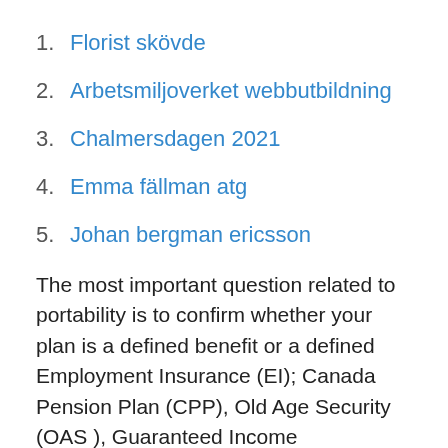1. Florist skövde
2. Arbetsmiljoverket webbutbildning
3. Chalmersdagen 2021
4. Emma fällman atg
5. Johan bergman ericsson
The most important question related to portability is to confirm whether your plan is a defined benefit or a defined  Employment Insurance (EI); Canada Pension Plan (CPP), Old Age Security (OAS ), Guaranteed Income Supplement (GIS) benefits; Social Insurance Numbers  INPRS Careers · Are you ready to work for the Indiana Public Retirement System 2 · Our work culture · Start your INPRS